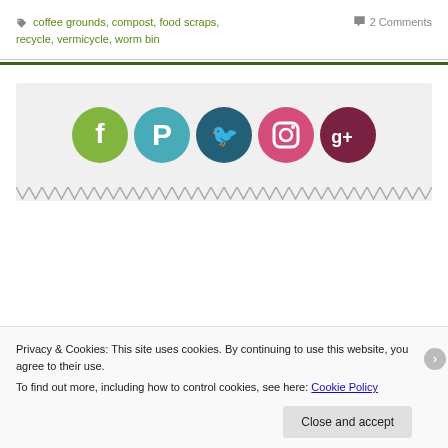coffee grounds, compost, food scraps, recycle, vermicycle, worm bin
2 Comments
[Figure (infographic): Five social media icon circles: Facebook (green), Pinterest (teal), Twitter (dark teal), Instagram (pink), Google+ (dark red/maroon)]
Privacy & Cookies: This site uses cookies. By continuing to use this website, you agree to their use.
To find out more, including how to control cookies, see here: Cookie Policy
Close and accept